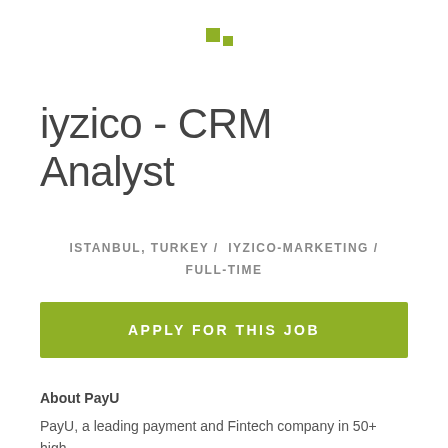[Figure (logo): iyzico logo mark — two small olive/green squares arranged in an L pattern]
iyzico - CRM Analyst
ISTANBUL, TURKEY /  IYZICO-MARKETING / FULL-TIME
APPLY FOR THIS JOB
About PayU
PayU, a leading payment and Fintech company in 50+ high-